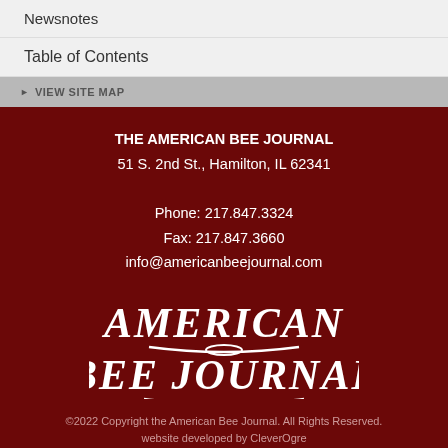Newsnotes
Table of Contents
▶ VIEW SITE MAP
THE AMERICAN BEE JOURNAL
51 S. 2nd St., Hamilton, IL 62341

Phone: 217.847.3324
Fax: 217.847.3660
info@americanbeejournal.com
[Figure (logo): American Bee Journal logo in white text on dark red background]
©2022 Copyright the American Bee Journal. All Rights Reserved.
website developed by CleverOgre